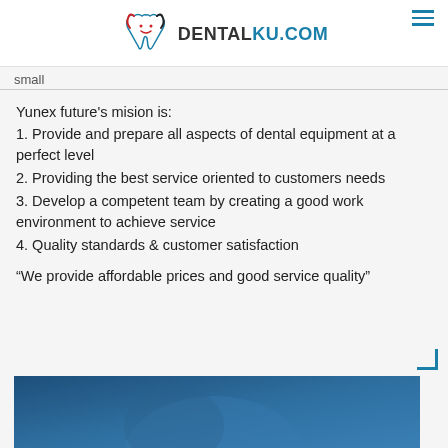DENTALKU.COM
small
Yunex future's mision is:
1. Provide and prepare all aspects of dental equipment at a perfect level
2. Providing the best service oriented to customers needs
3. Develop a competent team by creating a good work environment to achieve service
4. Quality standards & customer satisfaction
“We provide affordable prices and good service quality”
[Figure (photo): Blue-toned dental/medical photo at the bottom of the page]